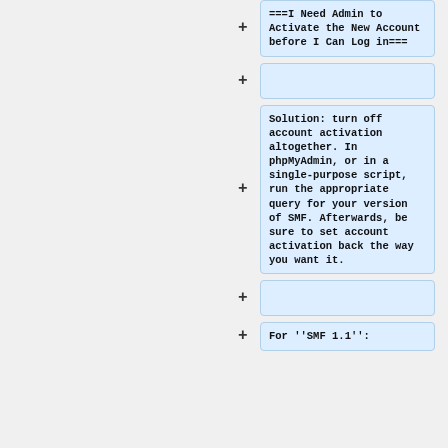===I Need Admin to Activate the New Account before I Can Log in===
Solution: turn off account activation altogether. In phpMyAdmin, or in a single-purpose script, run the appropriate query for your version of SMF. Afterwards, be sure to set account activation back the way you want it.
For '''SMF 1.1''':